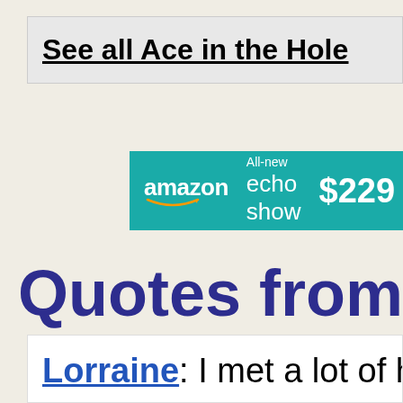See all Ace in the Hole
[Figure (other): Amazon Echo Show advertisement banner showing 'All-new echo show $229']
Quotes from Ace
Lorraine: I met a lot of ha